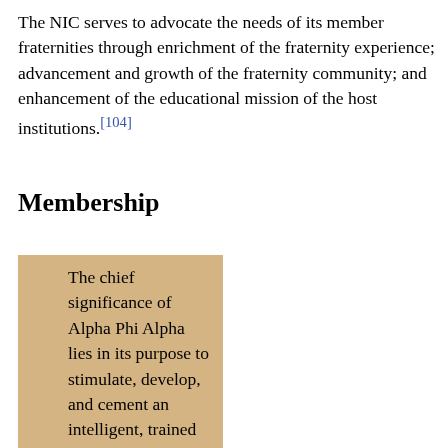The NIC serves to advocate the needs of its member fraternities through enrichment of the fraternity experience; advancement and growth of the fraternity community; and enhancement of the educational mission of the host institutions.[104]
Membership
The chief significance of Alpha Phi Alpha lies in its purpose to stimulate, develop, and cement an intelligent, trained leadership in the unending fight for freedom, equality and fraternity. Our